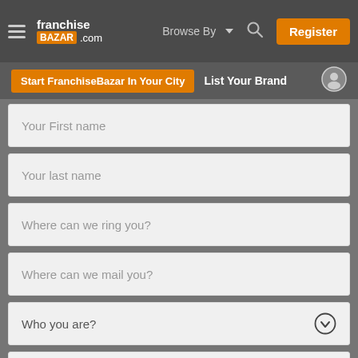[Figure (screenshot): FranchiseBazar.com website navigation bar with hamburger menu, logo, Browse By dropdown, search icon, and orange Register button]
[Figure (screenshot): Secondary navigation bar with orange 'Start FranchiseBazar In Your City' button, 'List Your Brand' text, and user profile icon]
Your First name
Your last name
Where can we ring you?
Where can we mail you?
Who you are?
What you seek?
Select Investment Level